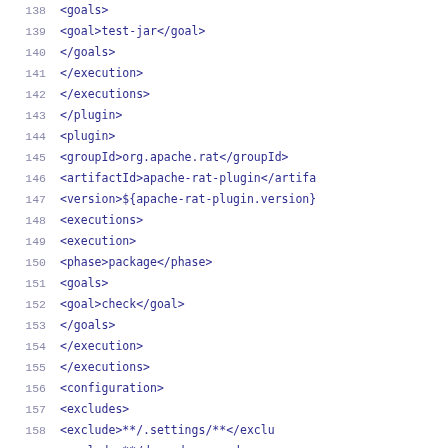138  <goals>
139    <goal>test-jar</goal>
140  </goals>
141  </execution>
142  </executions>
143  </plugin>
144  <plugin>
145    <groupId>org.apache.rat</groupId>
146    <artifactId>apache-rat-plugin</artifactId>
147    <version>${apache-rat-plugin.version}
148    <executions>
149      <execution>
150        <phase>package</phase>
151        <goals>
152          <goal>check</goal>
153        </goals>
154      </execution>
155    </executions>
156    <configuration>
157      <excludes>
158        <exclude>**/.settings/**</exclude>
159        <exclude>**/dependency-reduce...